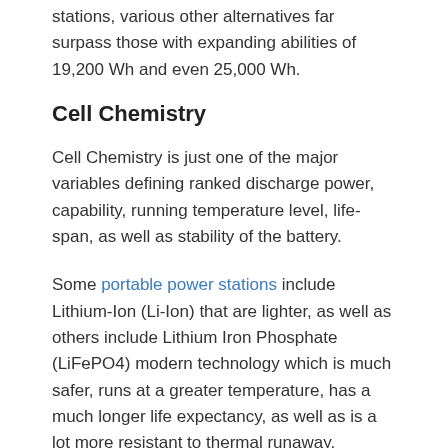stations, various other alternatives far surpass those with expanding abilities of 19,200 Wh and even 25,000 Wh.
Cell Chemistry
Cell Chemistry is just one of the major variables defining ranked discharge power, capability, running temperature level, life-span, as well as stability of the battery.
Some portable power stations include Lithium-Ion (Li-Ion) that are lighter, as well as others include Lithium Iron Phosphate (LiFePO4) modern technology which is much safer, runs at a greater temperature, has a much longer life expectancy, as well as is a lot more resistant to thermal runaway.